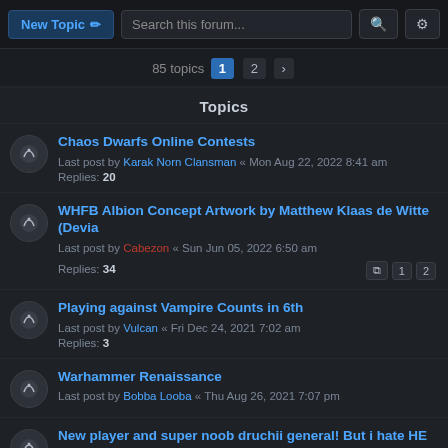New Topic | Search this forum...
85 topics  1  2  >
Topics
Chaos Dwarfs Online Contests
Last post by Karak Norn Clansman « Mon Aug 22, 2022 8:41 am
Replies: 20
WHFB Albion Concept Artwork by Matthew Klaas de Witte (Devia
Last post by Cabezon « Sun Jun 05, 2022 6:50 am
Replies: 34
1 2
Playing against Vampire Counts in 6th
Last post by Vulcan « Fri Dec 24, 2021 7:02 am
Replies: 3
Warhammer Renaissance
Last post by Bobba Looba « Thu Aug 26, 2021 7:07 pm
New player and super noob druchii general! But i hate HE
Last post by Vulcan « Wed Jun 30, 2021 2:57 am
Replies: 18
Converting WHF fan fic into None Warhammer fic
Last post by Red... « Wed May 12, 2021 4:19 pm